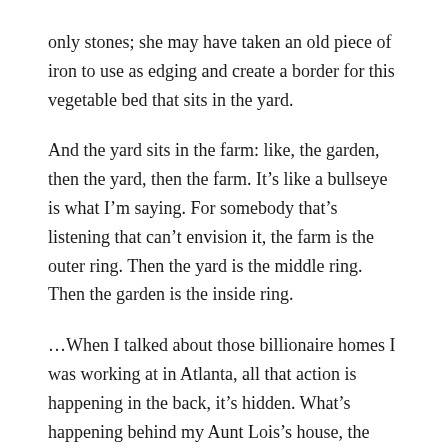only stones; she may have taken an old piece of iron to use as edging and create a border for this vegetable bed that sits in the yard.
And the yard sits in the farm: like, the garden, then the yard, then the farm. It’s like a bullseye is what I’m saying. For somebody that’s listening that can’t envision it, the farm is the outer ring. Then the yard is the middle ring. Then the garden is the inside ring.
…When I talked about those billionaire homes I was working at in Atlanta, all that action is happening in the back, it’s hidden. What’s happening behind my Aunt Lois’s house, the smokehouse is back there. That’s where you’re working on the landscape equipment. Like, that’s what’s hidden. But all this activity, all this movement, all the socialization is up front for